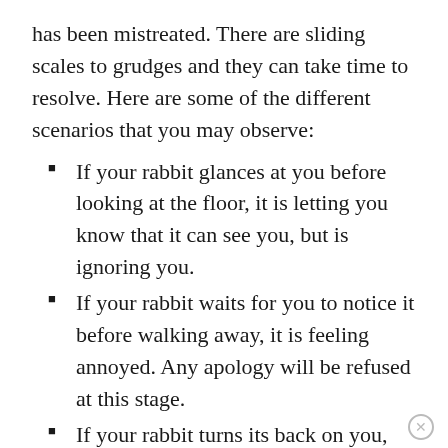has been mistreated. There are sliding scales to grudges and they can take time to resolve. Here are some of the different scenarios that you may observe:
If your rabbit glances at you before looking at the floor, it is letting you know that it can see you, but is ignoring you.
If your rabbit waits for you to notice it before walking away, it is feeling annoyed. Any apology will be refused at this stage.
If your rabbit turns its back on you, it’s feeling furious. It doesn’t want to know you, and may kick its heels in your direction.
If your rabbit folds its ears down, it is